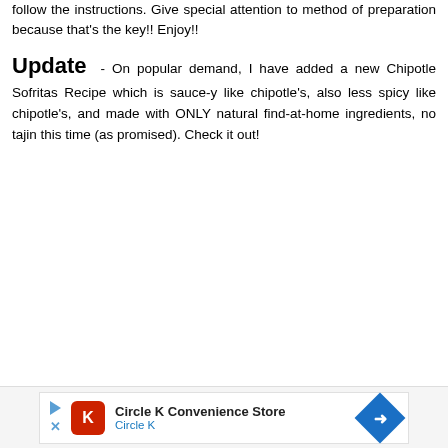follow the instructions. Give special attention to method of preparation because that's the key!! Enjoy!!
Update - On popular demand, I have added a new Chipotle Sofritas Recipe which is sauce-y like chipotle's, also less spicy like chipotle's, and made with ONLY natural find-at-home ingredients, no tajin this time (as promised). Check it out!
[Figure (other): Circle K Convenience Store advertisement banner at the bottom of the page showing Circle K logo, store name, and a blue diamond direction arrow icon.]